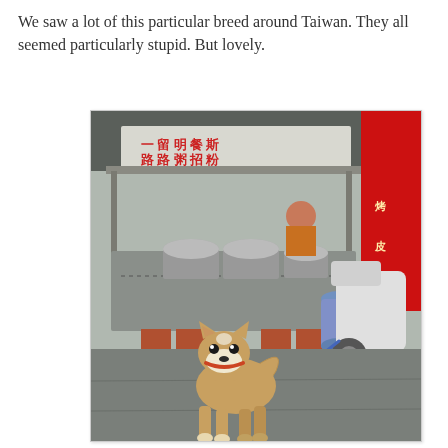We saw a lot of this particular breed around Taiwan. They all seemed particularly stupid. But lovely.
[Figure (photo): A Shiba Inu dog on a leash standing on pavement in front of a Taiwanese street food stall with Chinese signage, metal cooking pots, a gas cylinder, and a scooter visible in the background.]